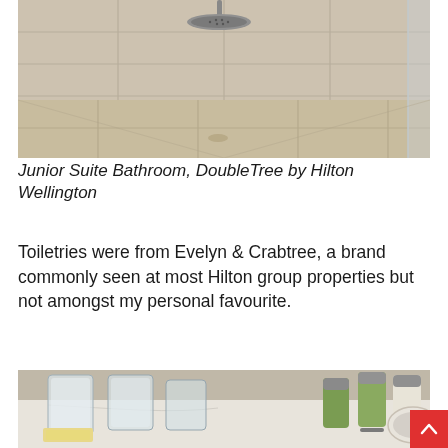[Figure (photo): Top-down view of a hotel bathroom rain shower head mounted on ceiling, with beige/cream large-format tiles on walls and floor. A round chrome rain shower head visible at top center.]
Junior Suite Bathroom, DoubleTree by Hilton Wellington
Toiletries were from Evelyn & Crabtree, a brand commonly seen at most Hilton group properties but not amongst my personal favourite.
[Figure (photo): Hotel bathroom toiletries on a white marble surface: clear glass cups, several small Crabtree & Evelyn product bottles with silver/grey caps containing green and white liquid, a bar of soap, and a partial view of a bathroom sink.]